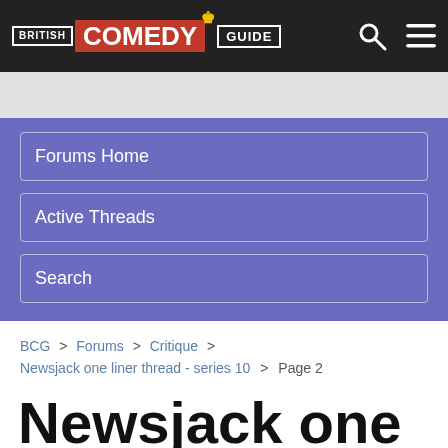British Comedy Guide
Forums Home
Active Threads
Search
BCG > Forums > Critique > Newsjack one liner thread - series 10 > Page 2
Newsjack one liner thread